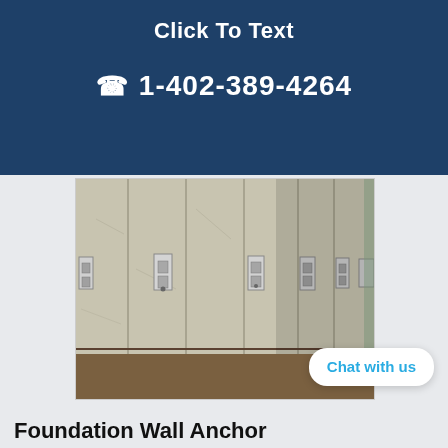Click To Text
☎ 1-402-389-4264
[Figure (photo): A concrete basement or foundation wall with multiple metal wall anchor plates installed at regular intervals across the wall surface. The anchors are rectangular metal plates with bracket hardware mounted flush against the grey concrete panels. The floor has dirt/soil visible and the corridor extends into the background.]
Chat with us
Foundation Wall Anchor